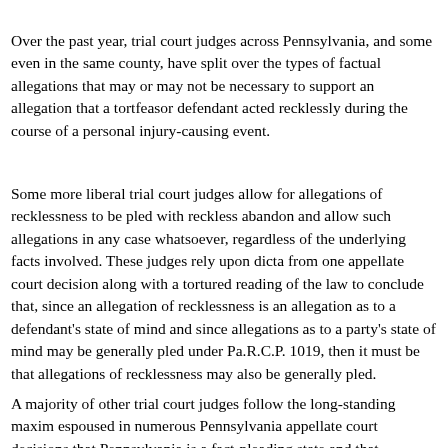Over the past year, trial court judges across Pennsylvania, and some even in the same county, have split over the types of factual allegations that may or may not be necessary to support an allegation that a tortfeasor defendant acted recklessly during the course of a personal injury-causing event.
Some more liberal trial court judges allow for allegations of recklessness to be pled with reckless abandon and allow such allegations in any case whatsoever, regardless of the underlying facts involved. These judges rely upon dicta from one appellate court decision along with a tortured reading of the law to conclude that, since an allegation of recklessness is an allegation as to a defendant's state of mind and since allegations as to a party's state of mind may be generally pled under Pa.R.C.P. 1019, then it must be that allegations of recklessness may also be generally pled.
A majority of other trial court judges follow the long-standing maxim espoused in numerous Pennsylvania appellate court decisions that Pennsylvania is a fact-pleading state and that